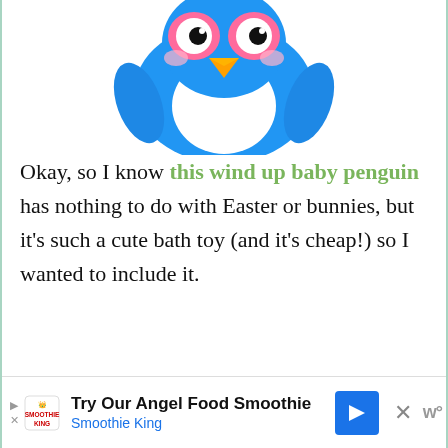[Figure (photo): A blue baby penguin wind-up toy with pink eye accents and yellow beak, shown from the top portion, partially cropped at the page top.]
Okay, so I know this wind up baby penguin has nothing to do with Easter or bunnies, but it's such a cute bath toy (and it's cheap!) so I wanted to include it.
We bought one for each of our
[Figure (infographic): Advertisement bar at bottom: 'Try Our Angel Food Smoothie - Smoothie King' with logo, arrow icon, close button and W icon.]